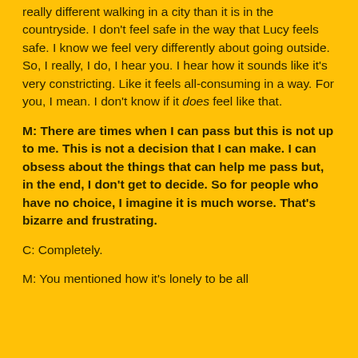really different walking in a city than it is in the countryside. I don't feel safe in the way that Lucy feels safe. I know we feel very differently about going outside. So, I really, I do, I hear you. I hear how it sounds like it's very constricting. Like it feels all-consuming in a way. For you, I mean. I don't know if it does feel like that.
M: There are times when I can pass but this is not up to me. This is not a decision that I can make. I can obsess about the things that can help me pass but, in the end, I don't get to decide. So for people who have no choice, I imagine it is much worse. That's bizarre and frustrating.
C: Completely.
M: You mentioned how it's lonely to be all